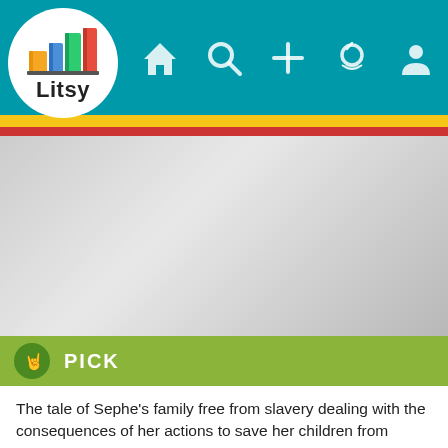[Figure (screenshot): Litsy app screenshot showing logo with stacked colorful books, navigation bar with home, search, add, notification, and profile icons on teal background, with yellow and red stripes below, and a gray book cover area.]
PICK
The tale of Sephe's family free from slavery dealing with the consequences of her actions to save her children from becoming slaves again.
This book is heartbreaking and devastating to know that the harsh, repugnant treatment of African Americans in the United States happened in real life and people should never have to deal with the trauma of not owning their own life.